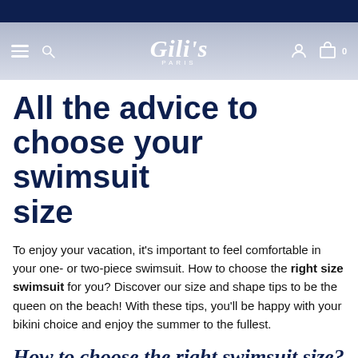Gili's Paris — navigation bar with hamburger, search, logo, account, cart
All the advice to choose your swimsuit size
To enjoy your vacation, it's important to feel comfortable in your one- or two-piece swimsuit. How to choose the right size swimsuit for you? Discover our size and shape tips to be the queen on the beach! With these tips, you'll be happy with your bikini choice and enjoy the summer to the fullest.
How to choose the right swimsuit size?
Size Most Women Depend On the fabric Continue to the next line...